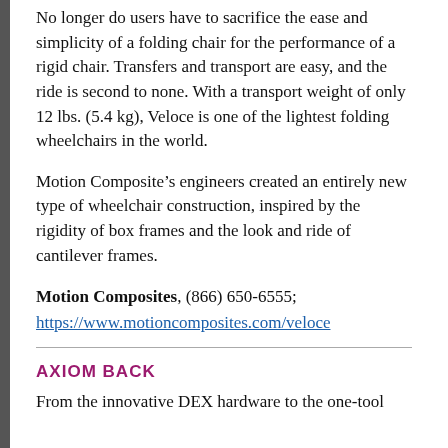No longer do users have to sacrifice the ease and simplicity of a folding chair for the performance of a rigid chair. Transfers and transport are easy, and the ride is second to none. With a transport weight of only 12 lbs. (5.4 kg), Veloce is one of the lightest folding wheelchairs in the world.
Motion Composite’s engineers created an entirely new type of wheelchair construction, inspired by the rigidity of box frames and the look and ride of cantilever frames.
Motion Composites, (866) 650-6555; https://www.motioncomposites.com/veloce
AXIOM BACK
From the innovative DEX hardware to the one-tool